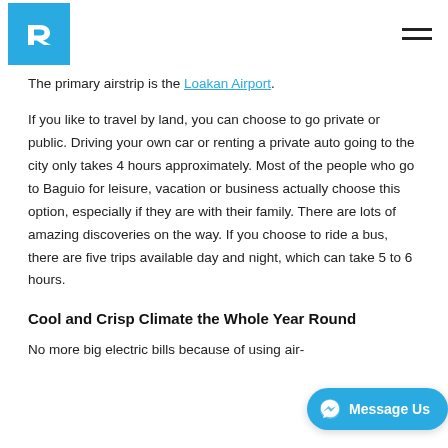R logo and navigation menu
The primary airstrip is the Loakan Airport.
If you like to travel by land, you can choose to go private or public. Driving your own car or renting a private auto going to the city only takes 4 hours approximately. Most of the people who go to Baguio for leisure, vacation or business actually choose this option, especially if they are with their family. There are lots of amazing discoveries on the way. If you choose to ride a bus, there are five trips available day and night, which can take 5 to 6 hours.
Cool and Crisp Climate the Whole Year Round
No more big electric bills because of using air-